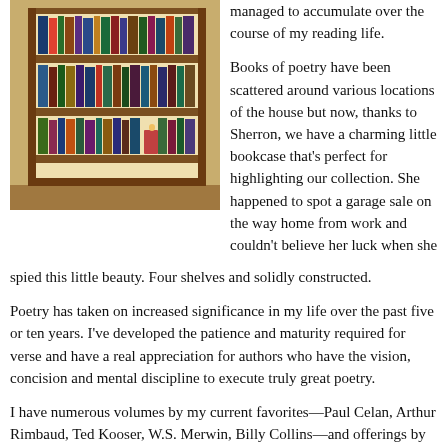[Figure (photo): A wooden bookcase filled with books, four shelves, set against a yellow wall with hardwood floor visible at the bottom.]
managed to accumulate over the course of my reading life.

Books of poetry have been scattered around various locations of the house but now, thanks to Sherron, we have a charming little bookcase that's perfect for highlighting our collection. She happened to spot a garage sale on the way home from work and couldn't believe her luck when she spied this little beauty. Four shelves and solidly constructed.
Poetry has taken on increased significance in my life over the past five or ten years. I've developed the patience and maturity required for verse and have a real appreciation for authors who have the vision, concision and mental discipline to execute truly great poetry.
I have numerous volumes by my current favorites—Paul Celan, Arthur Rimbaud, Ted Kooser, W.S. Merwin, Billy Collins—and offerings by lesser